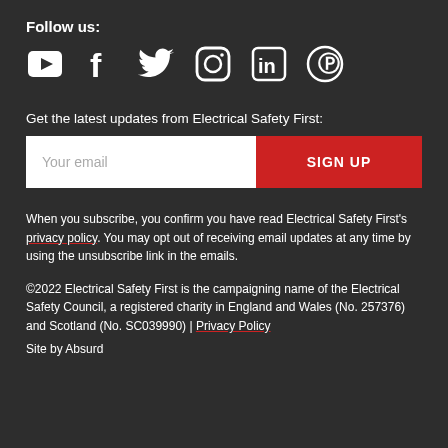Follow us:
[Figure (illustration): Six social media icons in white: YouTube, Facebook, Twitter, Instagram, LinkedIn, Pinterest]
Get the latest updates from Electrical Safety First:
[Figure (other): Email subscription form with white input field placeholder 'Your email' and red SIGN UP button]
When you subscribe, you confirm you have read Electrical Safety First's privacy policy. You may opt out of receiving email updates at any time by using the unsubscribe link in the emails.
©2022 Electrical Safety First is the campaigning name of the Electrical Safety Council, a registered charity in England and Wales (No. 257376) and Scotland (No. SC039990) | Privacy Policy
Site by Absurd